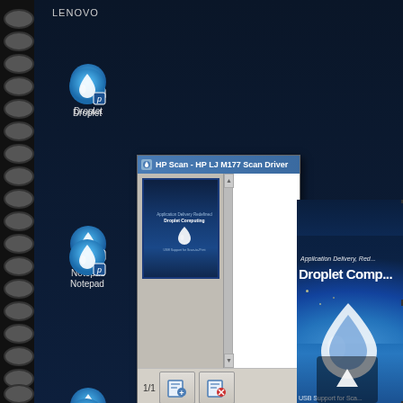[Figure (screenshot): Lenovo laptop desktop screenshot showing Windows taskbar with icons (Droplet, Notepad, Microsoft Excel, SystmOne, EasyServ TurboStar, HP Scanner) on left side, spiral binding visible on far left, and HP Scan - HP LJ M177 Scan Driver window open showing a scanned document thumbnail. On the right side is a partial view of a Droplet Computing brochure document with text 'Application Delivery, Red... Droplet Comp...' and 'USB Support for Sca...' with the Droplet Computing logo.]